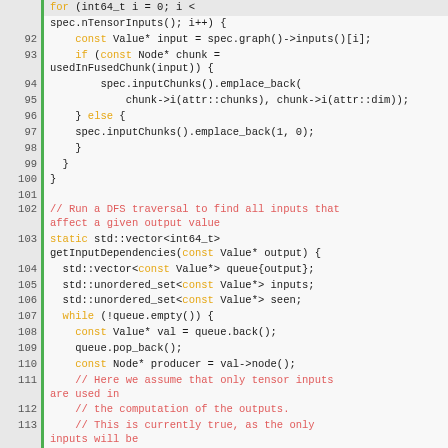[Figure (screenshot): Source code snippet in C++ with syntax highlighting, showing lines 91-115 of a file. Line numbers on the left, green vertical bar separator, code on the right. Keywords in orange/yellow, comments in red, identifiers in dark. Code includes DFS traversal function getInputDependencies and related logic.]